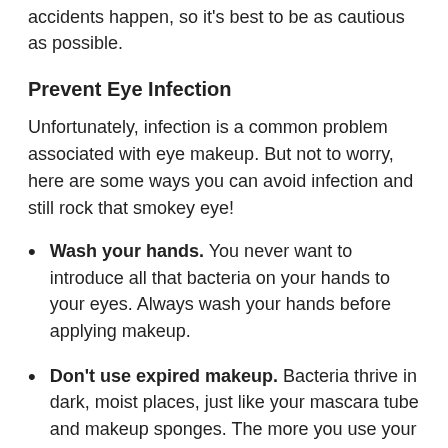accidents happen, so it's best to be as cautious as possible.
Prevent Eye Infection
Unfortunately, infection is a common problem associated with eye makeup. But not to worry, here are some ways you can avoid infection and still rock that smokey eye!
Wash your hands. You never want to introduce all that bacteria on your hands to your eyes. Always wash your hands before applying makeup.
Don't use expired makeup. Bacteria thrive in dark, moist places, just like your mascara tube and makeup sponges. The more you use your makeup, the more bacteria you introduce. Be sure to replace makeup every three months.
Don't share. When you use somebody else's makeup, you're introducing different bacteria to your